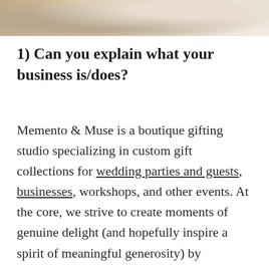[Figure (photo): Partial top view of a wrapped gift or boutique item with beige/cream tones, raffia or natural textures, cropped at top of page]
1) Can you explain what your business is/does?
Memento & Muse is a boutique gifting studio specializing in custom gift collections for wedding parties and guests, businesses, workshops, and other events. At the core, we strive to create moments of genuine delight (and hopefully inspire a spirit of meaningful generosity) by